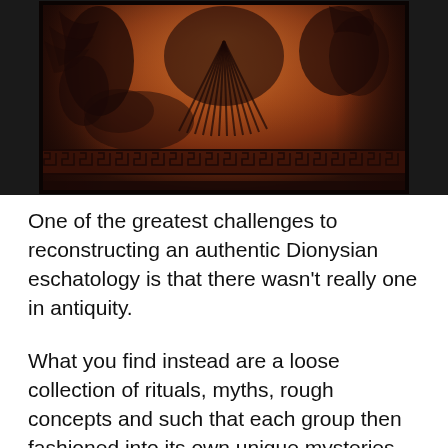[Figure (photo): A photograph of an ancient Greek red-figure pottery vase with black silhouetted figures depicted on it. The vase has a dark reddish-brown color with black painted figures. A Greek key (meander) decorative border runs along the lower portion of the vessel. The figures appear to be engaged in some kind of scene. The image is cropped to show only the mid-section of the vase.]
One of the greatest challenges to reconstructing an authentic Dionysian eschatology is that there wasn't really one in antiquity.
What you find instead are a loose collection of rituals, myths, rough concepts and such that each group then fashioned into its own unique mysteries. They